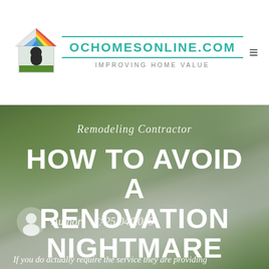[Figure (logo): Colorful house outline logo with rainbow roof (red, orange, yellow, green, blue) and dark window/door, on white background]
OCHOMESONLINE.COM
IMPROVING HOME VALUE
Remodeling Contractor
HOW TO AVOID A RENOVATION NIGHTMARE
Author  25/04/2019
If you do actually require the service they are providing